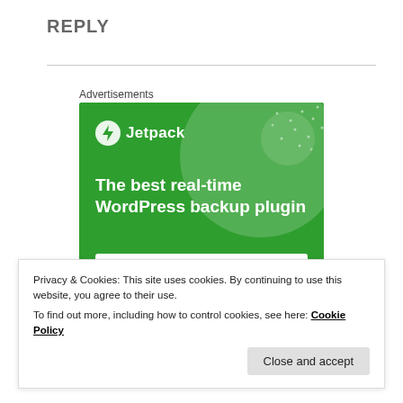REPLY
[Figure (screenshot): Jetpack advertisement banner on green background. Shows Jetpack logo (lightning bolt in circle) and text: 'The best real-time WordPress backup plugin' with a 'Back up your site' button.]
Advertisements
Privacy & Cookies: This site uses cookies. By continuing to use this website, you agree to their use.
To find out more, including how to control cookies, see here: Cookie Policy
Close and accept